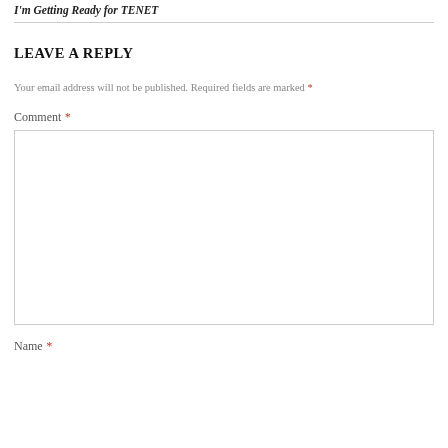I'm Getting Ready for TENET
LEAVE A REPLY
Your email address will not be published. Required fields are marked *
Comment *
Name *